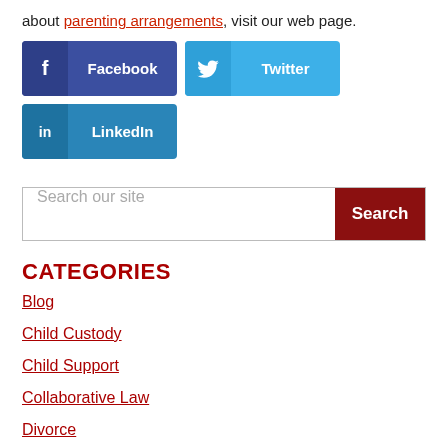about parenting arrangements, visit our web page.
[Figure (infographic): Social media share buttons: Facebook (dark blue), Twitter (light blue), LinkedIn (medium blue)]
[Figure (other): Search bar with text 'Search our site' and dark red Search button]
CATEGORIES
Blog
Child Custody
Child Support
Collaborative Law
Divorce